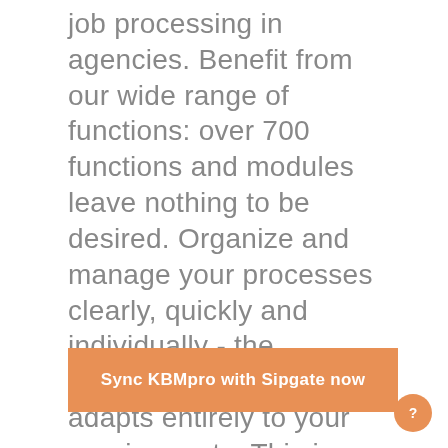job processing in agencies. Benefit from our wide range of functions: over 700 functions and modules leave nothing to be desired. Organize and manage your processes clearly, quickly and individually - the KBMpro software adapts entirely to your requirements. This is how you use your time resources as efficiently as possible.
Sync KBMpro with Sipgate now